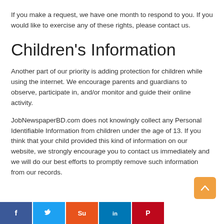If you make a request, we have one month to respond to you. If you would like to exercise any of these rights, please contact us.
Children's Information
Another part of our priority is adding protection for children while using the internet. We encourage parents and guardians to observe, participate in, and/or monitor and guide their online activity.
JobNewspaperBD.com does not knowingly collect any Personal Identifiable Information from children under the age of 13. If you think that your child provided this kind of information on our website, we strongly encourage you to contact us immediately and we will do our best efforts to promptly remove such information from our records.
[Figure (other): Social media share buttons: Facebook (blue), Twitter (light blue), StumbleUpon (orange-red), LinkedIn (blue), Pinterest (red)]